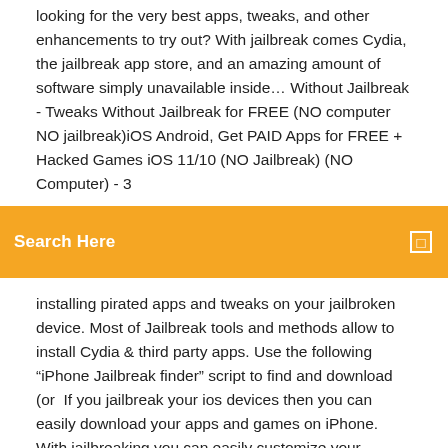looking for the very best apps, tweaks, and other enhancements to try out? With jailbreak comes Cydia, the jailbreak app store, and an amazing amount of software simply unavailable inside… Without Jailbreak - Tweaks Without Jailbreak for FREE (NO computer NO jailbreak)iOS Android, Get PAID Apps for FREE + Hacked Games iOS 11/10 (NO Jailbreak) (NO Computer) - 3
Search Here
installing pirated apps and tweaks on your jailbroken device. Most of Jailbreak tools and methods allow to install Cydia & third party apps. Use the following "iPhone Jailbreak finder" script to find and download (or  If you jailbreak your ios devices then you can easily download your apps and games on iPhone. With jailbreaking you can easily customize your iPhone, you When speaking about iPhones, the term "jailbreaking" refers to the process of hacking the device's firmware so you can use unapproved apps unavailable from  24 Sep 2019 Jailbreaking an